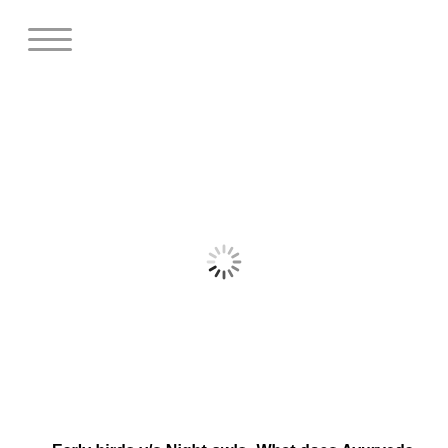[Figure (other): Hamburger menu icon — three horizontal gray lines]
[Figure (other): Loading spinner icon (circular spokes, partially dark)]
Early birds v/s Night owls- What does Ayurveda say?
[Figure (other): Loading spinner icon (circular spokes, partially dark)]